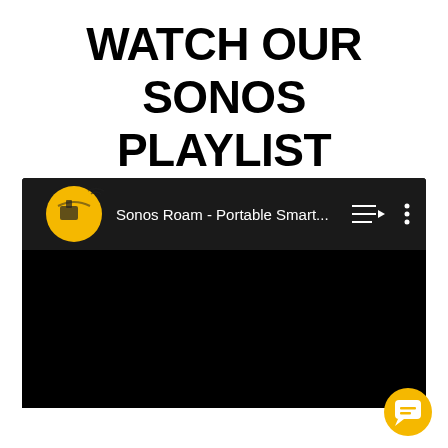WATCH OUR SONOS PLAYLIST
[Figure (screenshot): YouTube playlist embed screenshot showing 'Sonos Roam - Portable Smart...' with a golden circular channel avatar on the left, playlist/queue icon and three-dot menu on the right, black video area below]